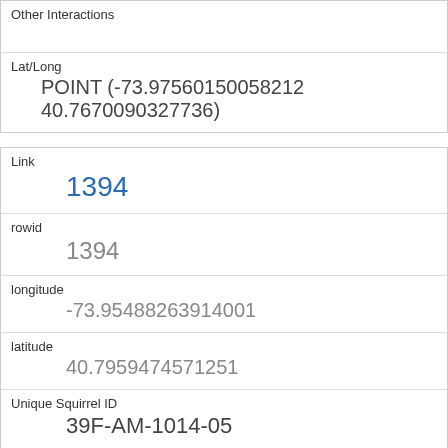Other Interactions
Lat/Long
POINT (-73.97560150058212 40.7670090327736)
Link
1394
rowid
1394
longitude
-73.95488263914001
latitude
40.7959474571251
Unique Squirrel ID
39F-AM-1014-05
Hectare
39F
Shift
AM
Date
10142018